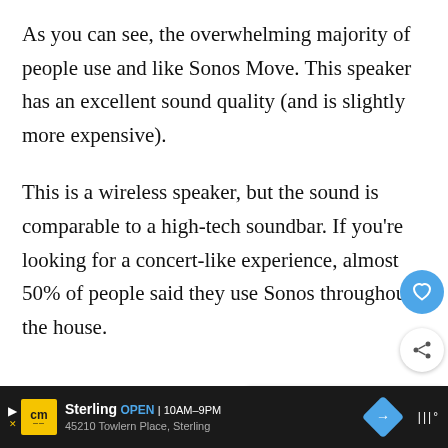As you can see, the overwhelming majority of people use and like Sonos Move. This speaker has an excellent sound quality (and is slightly more expensive).
This is a wireless speaker, but the sound is comparable to a high-tech soundbar. If you're looking for a concert-like experience, almost 50% of people said they use Sonos throughout the house.
[Figure (other): UI overlay elements: heart/favorite button (blue circle), share button (white circle with share icon), 'What's Next' card with thumbnail and title 'Why I Quit F45 Training Afte...', and an Ad label with play button]
[Figure (other): Bottom advertisement bar showing CM (Canadian Mattress/Costco Mattress) logo in yellow, Sterling store location OPEN 10AM-9PM, 45210 Towlern Place Sterling, navigation arrow icon, and weather/radio icons on dark background]